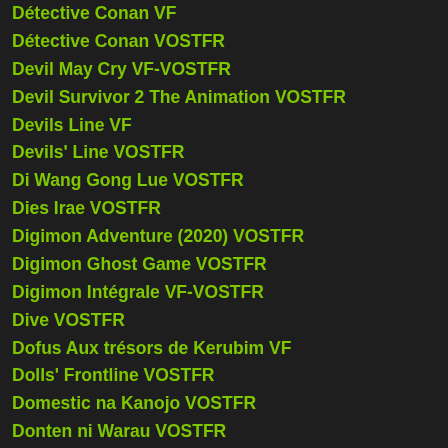Détective Conan VF
Détective Conan VOSTFR
Devil May Cry VF-VOSTFR
Devil Survivor 2 The Animation VOSTFR
Devils Line VF
Devils' Line VOSTFR
Di Wang Gong Lue VOSTFR
Dies Irae VOSTFR
Digimon Adventure (2020) VOSTFR
Digimon Ghost Game VOSTFR
Digimon Intégrale VF-VOSTFR
Dive VOSTFR
Dofus Aux trésors de Kerubim VF
Dolls' Frontline VOSTFR
Domestic na Kanojo VOSTFR
Donten ni Warau VOSTFR
Dorohedoro VOSTFR
Dororo VOSTFR
Dou Shen Ji VOSTFR